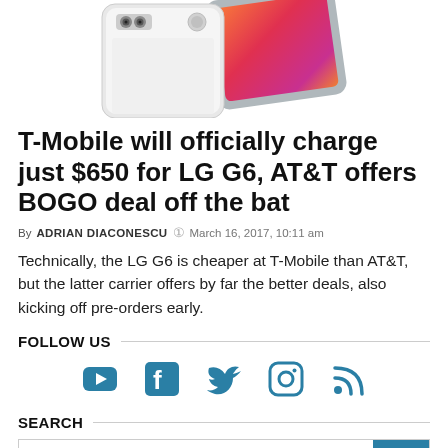[Figure (photo): Two LG G6 smartphones side by side, one white (front) showing camera and fingerprint sensor, one gray (back) showing the colorful display with orange/red/pink gradient.]
T-Mobile will officially charge just $650 for LG G6, AT&T offers BOGO deal off the bat
By ADRIAN DIACONESCU  March 16, 2017, 10:11 am
Technically, the LG G6 is cheaper at T-Mobile than AT&T, but the latter carrier offers by far the better deals, also kicking off pre-orders early.
FOLLOW US
[Figure (infographic): Social media icons: YouTube, Facebook, Twitter, Instagram, RSS — all in teal/dark blue color.]
SEARCH
[Figure (infographic): Search bar with white input field and teal search button with magnifying glass icon.]